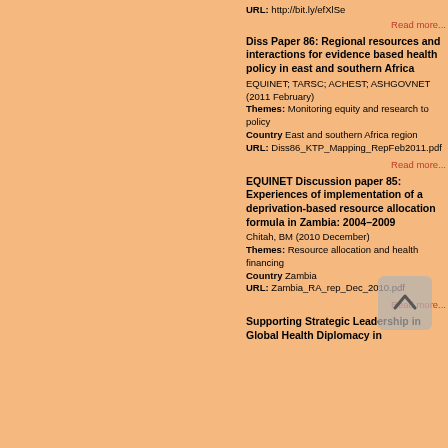URL: http://bit.ly/efXlSe
Read more...
Diss Paper 86: Regional resources and interactions for evidence based health policy in east and southern Africa
EQUINET; TARSC; ACHEST; ASHGOVNET (2011 February)
Themes: Monitoring equity and research to policy
Country East and southern Africa region
URL: Diss86_KTP_Mapping_RepFeb2011.pdf
Read more...
EQUINET Discussion paper 85: Experiences of implementation of a deprivation-based resource allocation formula in Zambia: 2004–2009
Chitah, BM (2010 December)
Themes: Resource allocation and health financing
Country Zambia
URL: Zambia_RA_rep_Dec_2010.pdf
Read more...
Supporting Strategic Leadership in Global Health Diplomacy in